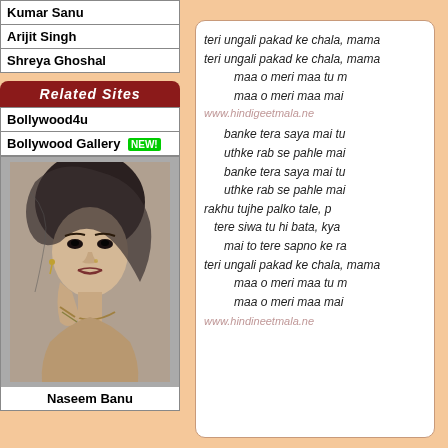| Kumar Sanu |
| Arijit Singh |
| Shreya Ghoshal |
Related Sites
| Bollywood4u |
| Bollywood Gallery NEW! |
[Figure (photo): Black and white vintage photo of Naseem Banu, a woman in traditional attire with jewelry]
Naseem Banu
teri ungali pakad ke chala, mama
teri ungali pakad ke chala, mama
maa o meri maa tu m
maa o meri maa mai
www.hindigeetmala.ne
banke tera saya mai tu
uthke rab se pahle mai
banke tera saya mai tu
uthke rab se pahle mai
rakhu tujhe palko tale, p
tere siwa tu hi bata, kya
mai to tere sapno ke ra
teri ungali pakad ke chala, mama
maa o meri maa tu m
maa o meri maa mai
www.hindineetmala.ne